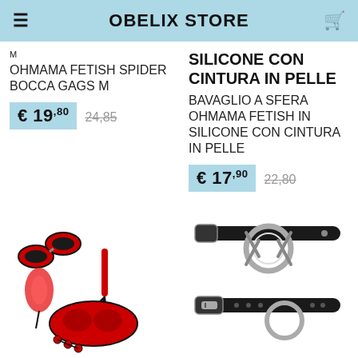OBELIX STORE
M
OHMAMA FETISH SPIDER BOCCA GAGS M
€ 19,80  24,85
SILICONE CON CINTURA IN PELLE
BAVAGLIO A SFERA OHMAMA FETISH IN SILICONE CON CINTURA IN PELLE
€ 17,90  22,80
[Figure (photo): Red and black BDSM fetish set with handcuffs, whip, blindfold, feather tickler, and nipple clamps]
[Figure (photo): Black leather ring gag with O-ring, shown from two angles with belt buckle]
OHMAMA FETISH SET
OHMAMA FETISH